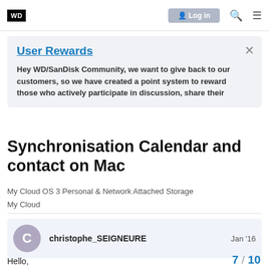WD | Log in
User Rewards
Hey WD/SanDisk Community, we want to give back to our customers, so we have created a point system to reward those who actively participate in discussion, share their
Synchronisation Calendar and contact on Mac
My Cloud OS 3 Personal & Network Attached Storage
My Cloud
christophe_SEIGNEURE   Jan '16
Hello,
I search a longtime on internet but without
I have several devices mac, Iphone, Ipad a
7 / 10